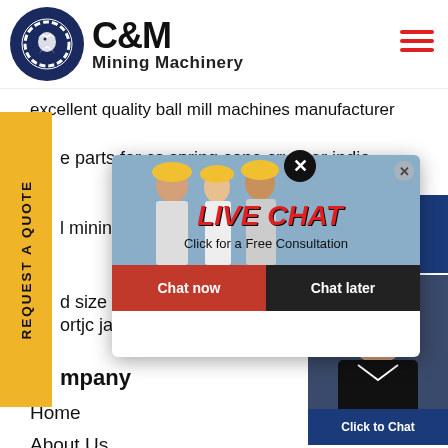[Figure (logo): C&M Mining Machinery logo with eagle gear icon in dark blue circle]
excellent quality ball mill machines manufacturer
e parts for cs spring cone crusher india
l mining e
d size on
ortjc jaw crusher pho
mpany
Home
About Us
[Figure (screenshot): Live chat popup with workers in hard hats background, LIVE CHAT text, Click for a Free Consultation, Chat now and Chat later buttons]
[Figure (photo): Customer service representative with headset, dark background, Click to Chat button below]